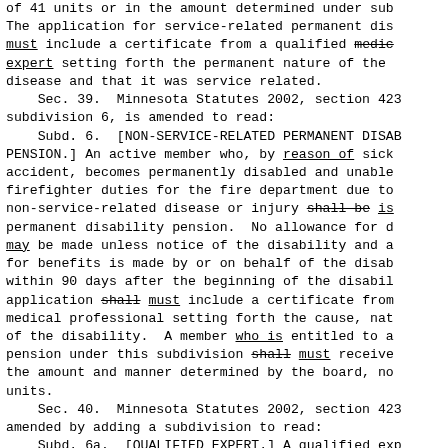of 41 units or in the amount determined under sub. The application for service-related permanent dis must include a certificate from a qualified medic expert setting forth the permanent nature of the disease and that it was service related.
Sec. 39. Minnesota Statutes 2002, section 423 subdivision 6, is amended to read:
Subd. 6. [NON-SERVICE-RELATED PERMANENT DISAB PENSION.] An active member who, by reason of sickness accident, becomes permanently disabled and unable firefighter duties for the fire department due to non-service-related disease or injury shall be is permanent disability pension. No allowance for d may be made unless notice of the disability and a for benefits is made by or on behalf of the disab within 90 days after the beginning of the disabil application shall must include a certificate from medical professional setting forth the cause, nat of the disability. A member who is entitled to a pension under this subdivision shall must receive the amount and manner determined by the board, no units.
Sec. 40. Minnesota Statutes 2002, section 423 amended by adding a subdivision to read:
Subd. 6a. [QUALIFIED EXPERT.] A qualified exp